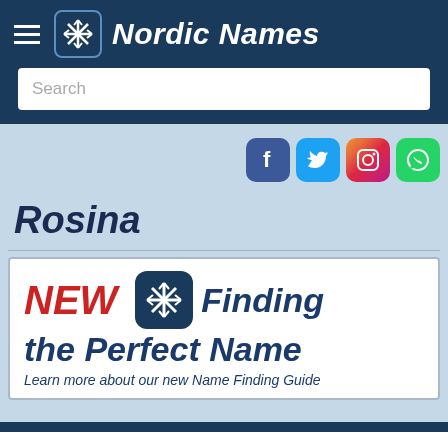Nordic Names
[Figure (screenshot): Search input box with placeholder text 'Search']
[Figure (infographic): Social media icons: Facebook, Twitter, Instagram, WhatsApp]
Rosina
[Figure (infographic): Advertisement banner: NEW Finding the Perfect Name - Learn more about our new Name Finding Guide]